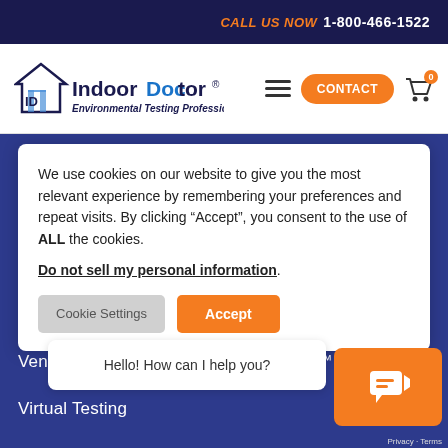CALL US NOW 1-800-466-1522
[Figure (logo): IndoorDoctor Environmental Testing Professionals logo with house/ID icon]
We use cookies on our website to give you the most relevant experience by remembering your preferences and repeat visits. By clicking “Accept”, you consent to the use of ALL the cookies. Do not sell my personal information.
Air Purifiers
ActivePure®
ActivePure®
FilterQueen®
Ventilation Sys…
E-Z Breathe™
Virtual Testing
[Figure (screenshot): Chat widget with hello message: Hello! How can I help you?]